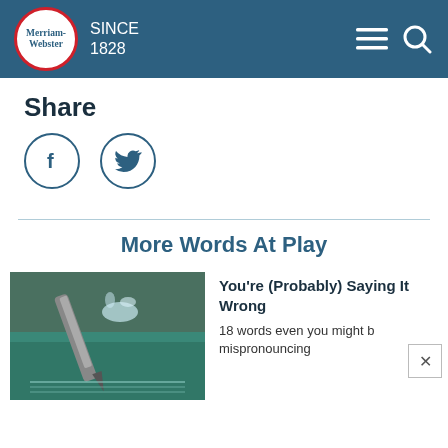Merriam-Webster SINCE 1828
Share
[Figure (logo): Facebook and Twitter share icon circles]
More Words At Play
[Figure (photo): Close-up photo of a pen tip with water splash on a technical drawing surface]
You're (Probably) Saying It Wrong
18 words even you might b mispronouncing